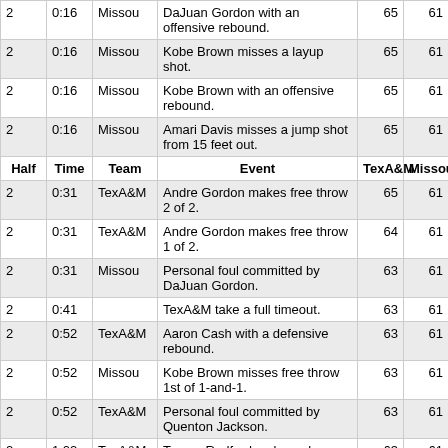| Half | Time | Team | Event | TexA&M | Missou |
| --- | --- | --- | --- | --- | --- |
| 2 | 0:16 | Missou | DaJuan Gordon with an offensive rebound. | 65 | 61 |
| 2 | 0:16 | Missou | Kobe Brown misses a layup shot. | 65 | 61 |
| 2 | 0:16 | Missou | Kobe Brown with an offensive rebound. | 65 | 61 |
| 2 | 0:16 | Missou | Amari Davis misses a jump shot from 15 feet out. | 65 | 61 |
| Half | Time | Team | Event | TexA&M | Missou |
| 2 | 0:31 | TexA&M | Andre Gordon makes free throw 2 of 2. | 65 | 61 |
| 2 | 0:31 | TexA&M | Andre Gordon makes free throw 1 of 2. | 64 | 61 |
| 2 | 0:31 | Missou | Personal foul committed by DaJuan Gordon. | 63 | 61 |
| 2 | 0:41 |  | TexA&M take a full timeout. | 63 | 61 |
| 2 | 0:52 | TexA&M | Aaron Cash with a defensive rebound. | 63 | 61 |
| 2 | 0:52 | Missou | Kobe Brown misses free throw 1st of 1-and-1. | 63 | 61 |
| 2 | 0:52 | TexA&M | Personal foul committed by Quenton Jackson. | 63 | 61 |
| 2 | 1:02 | TexA&M | Tyrece Radford makes a layup shot. | 63 | 61 |
| 2 | 1:25 | Missou | DaJuan Gordon with a bad pass | 61 | 61 |